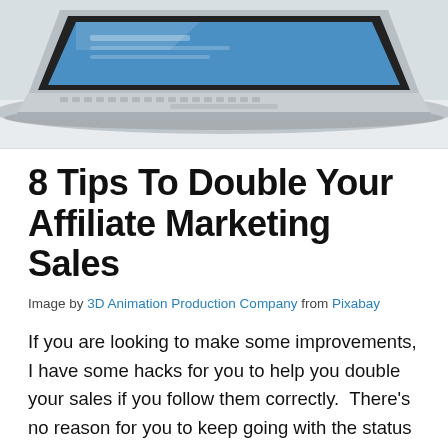[Figure (photo): Photo of a silver laptop on a white surface, viewed from slightly above, showing the keyboard and screen with a blue interface visible.]
8 Tips To Double Your Affiliate Marketing Sales
Image by 3D Animation Production Company from Pixabay
If you are looking to make some improvements, I have some hacks for you to help you double your sales if you follow them correctly.  There's no reason for you to keep going with the status quo, when you can take steps to improve your sales.